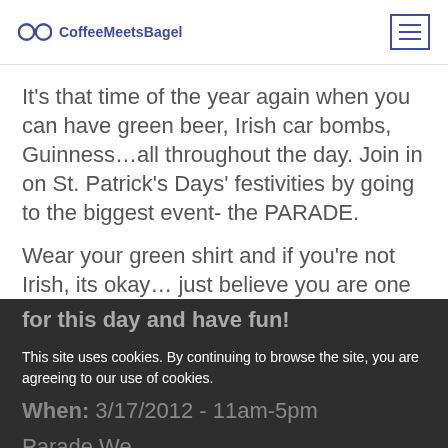CoffeeMeetsBagel
It’s that time of the year again when you can have green beer, Irish car bombs, Guinness…all throughout the day. Join in on St. Patrick’s Days’ festivities by going to the biggest event- the PARADE.
Wear your green shirt and if you’re not Irish, its okay… just believe you are one for this day and have fun!
When: 3/17/2012 - 11am-5pm
Parade We
This site uses cookies. By continuing to browse the site, you are agreeing to our use of cookies.